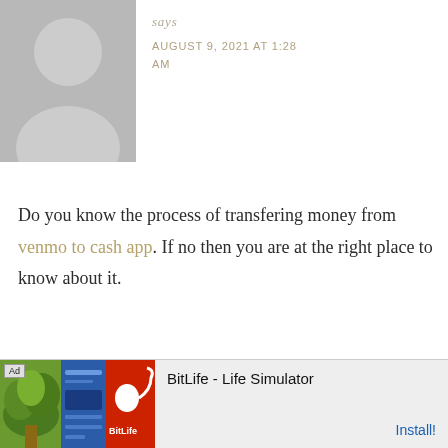[Figure (illustration): Gray placeholder avatar silhouette (head and shoulders) on gray background]
says
AUGUST 9, 2021 AT 1:28 AM
Do you know the process of transfering money from venmo to cash app. If no then you are at the right place to know about it.
Reply
[Figure (illustration): Gray placeholder avatar silhouette on gray background for second comment]
쇼핑OP-BEST.COM says
AUGUST 22, 2021 AT
[Figure (screenshot): Ad banner for BitLife - Life Simulator app with Ad label, app images, title text, and Install button]